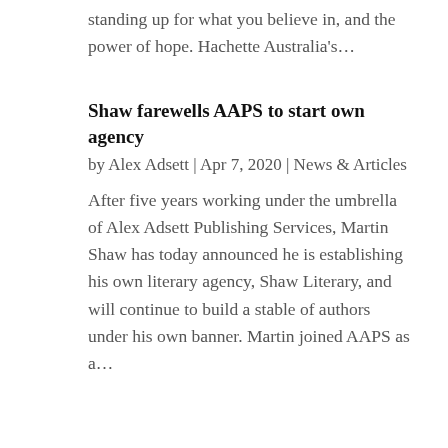standing up for what you believe in, and the power of hope. Hachette Australia's…
Shaw farewells AAPS to start own agency
by Alex Adsett | Apr 7, 2020 | News & Articles
After five years working under the umbrella of Alex Adsett Publishing Services, Martin Shaw has today announced he is establishing his own literary agency, Shaw Literary, and will continue to build a stable of authors under his own banner. Martin joined AAPS as a…